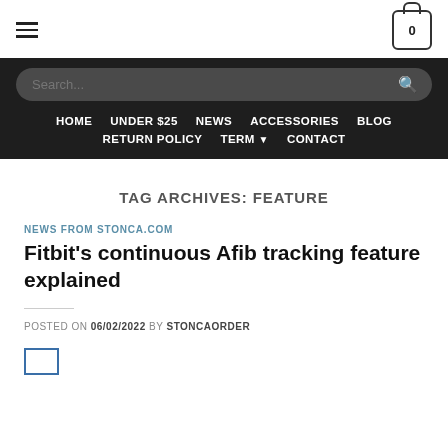Navigation header with hamburger menu, cart icon, search bar, and nav links: HOME, UNDER $25, NEWS, ACCESSORIES, BLOG, RETURN POLICY, TERM, CONTACT
TAG ARCHIVES: FEATURE
NEWS FROM STONCA.COM
Fitbit's continuous Afib tracking feature explained
POSTED ON 06/02/2022 BY STONCAORDER